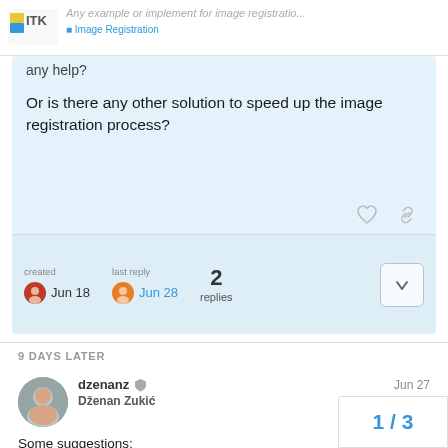Any example or implement for image registratio...
any help?
Or is there any other solution to speed up the image registration process?
created Jun 18  last reply Jun 28  2 replies
9 DAYS LATER
dzenanz  Dženan Zukić  Jun 27
Some suggestions:
Make sure you are compiling in Release, not Debug.
1 / 3